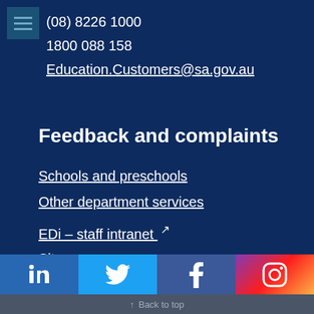(08) 8226 1000
1800 088 158
Education.Customers@sa.gov.au
Feedback and complaints
Schools and preschools
Other department services
EDi – staff intranet [external link]
Site map
[Figure (infographic): Social media icon bar with LinkedIn (blue), Twitter (light blue), Facebook (dark blue), Instagram (gradient purple to red)]
Back to top